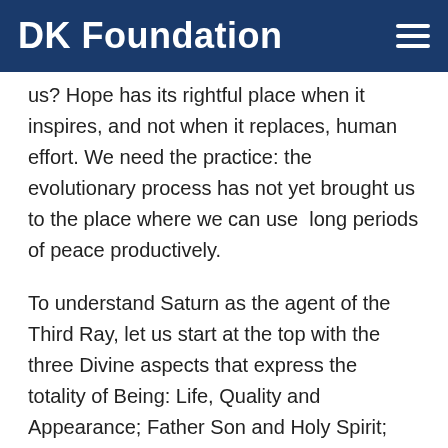DK Foundation
us? Hope has its rightful place when it inspires, and not when it replaces, human effort. We need the practice: the evolutionary process has not yet brought us to the place where we can use  long periods of peace productively.
To understand Saturn as the agent of the Third Ray, let us start at the top with the three Divine aspects that express the totality of Being: Life, Quality and Appearance; Father Son and Holy Spirit; the first, second and third Aspects that are expressed through the First Second and Third rays. In the Theosophical tradition, the Third Ray is called the Ray of Active Intelligence because, in addition to governing manifestation